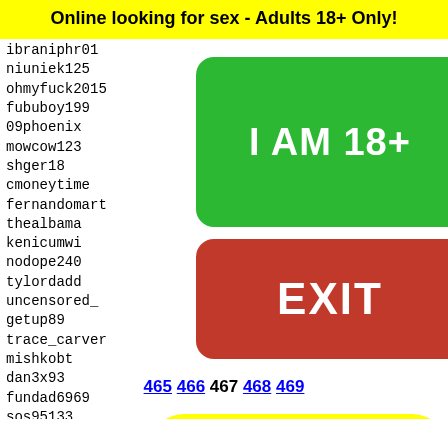Online looking for sex - Adults 18+ Only!
ibraniphr01
niuniek125
ohmyfuck2015
fububoy199...
09phoenix...
mowcow123...
shger18
cmoneytim...
fernandomart
thealbama...
kenicumwi...
nodope240...
tylordadd...
uncensored...
getup89
trace_carver
mishkobt
dan3x93
fundad6969
sos95133
lololc...
jaki76...
mabite...
grail1...
asteri...
picboy...
[Figure (other): Green button reading I AM 18+]
[Figure (other): Red EXIT button]
465 466 467 468 469
[Figure (photo): Snapchat ghost logo on yellow background with partial face]